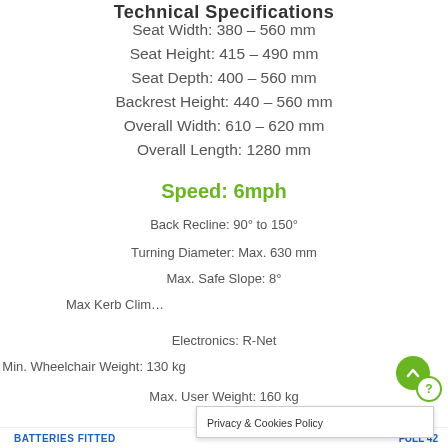Technical Specifications
Seat Width: 380 – 560 mm
Seat Height: 415 – 490 mm
Seat Depth: 400 – 560 mm
Backrest Height: 440 – 560 mm
Overall Width: 610 – 620 mm
Overall Length: 1280 mm
Speed: 6mph
Back Recline: 90° to 150°
Turning Diameter: Max. 630 mm
Max. Safe Slope: 8°
Max Kerb Clim…
Electronics:  R-Net
Min. Wheelchair Weight: 130 kg
Max. User Weight: 160 kg
Privacy & Cookies Policy
BATTERIES FITTED … FULL 42